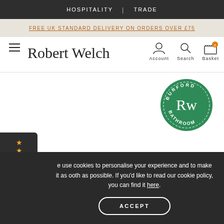HOSPITALITY | TRADE
FREE UK STANDARD DELIVERY ON ORDERS OVER £75
[Figure (logo): Robert Welch signature logo with hamburger menu icon]
[Figure (logo): Account, Search and Basket navigation icons with basket showing 0 items]
[Figure (logo): Burford Bathroom circular green badge/stamp with RW monogram]
[Figure (logo): Feefo Reviews sidebar widget showing star ratings]
e use cookies to personalise your experience and to make it as ooth as possible. If you'd like to read our cookie policy, you can find it here.